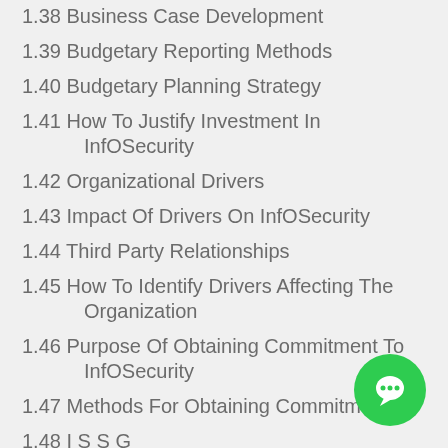1.38 Business Case Development
1.39 Budgetary Reporting Methods
1.40 Budgetary Planning Strategy
1.41 How To Justify Investment In InfOSecurity
1.42 Organizational Drivers
1.43 Impact Of Drivers On InfOSecurity
1.44 Third Party Relationships
1.45 How To Identify Drivers Affecting The Organization
1.46 Purpose Of Obtaining Commitment To InfOSecurity
1.47 Methods For Obtaining Commitment
1.48 I S S G
1.49 I S S G Roles And Responsibilities
1.50 I S S G Operation
1.51 How To Obtain Senior Managements Commitment To InfOSecurity
1.52 InfOSecurity Management Roles And